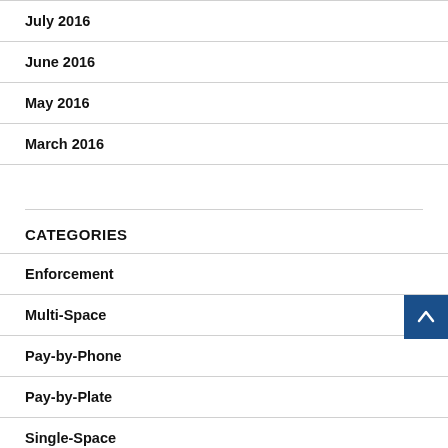July 2016
June 2016
May 2016
March 2016
CATEGORIES
Enforcement
Multi-Space
Pay-by-Phone
Pay-by-Plate
Single-Space